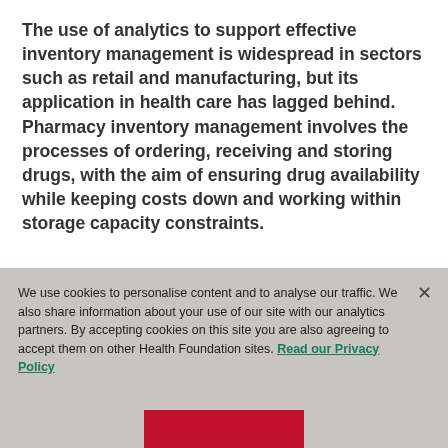The use of analytics to support effective inventory management is widespread in sectors such as retail and manufacturing, but its application in health care has lagged behind. Pharmacy inventory management involves the processes of ordering, receiving and storing drugs, with the aim of ensuring drug availability while keeping costs down and working within storage capacity constraints.
We use cookies to personalise content and to analyse our traffic. We also share information about your use of our site with our analytics partners. By accepting cookies on this site you are also agreeing to accept them on other Health Foundation sites. Read our Privacy Policy